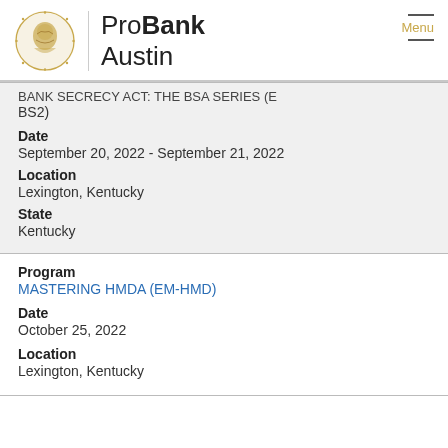ProBank Austin
BS2)
Date
September 20, 2022 - September 21, 2022
Location
Lexington, Kentucky
State
Kentucky
Program
MASTERING HMDA (EM-HMD)
Date
October 25, 2022
Location
Lexington, Kentucky